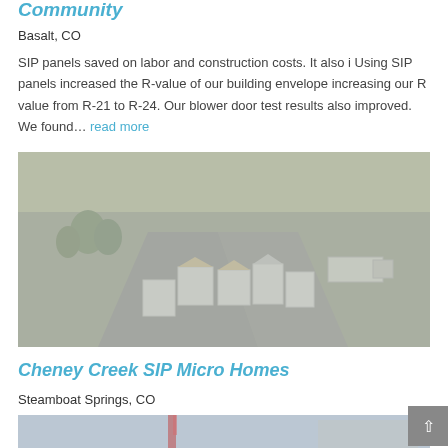Community
Basalt, CO
SIP panels saved on labor and construction costs. It also i Using SIP panels increased the R-value of our building envelope increasing our R value from R-21 to R-24. Our blower door test results also improved. We found… read more
[Figure (photo): Aerial view of Cheney Creek SIP Micro Homes construction site in Steamboat Springs, CO. Shows multiple white cube-shaped structures under construction, a road, vehicles including a semi truck, and surrounding rural landscape.]
Cheney Creek SIP Micro Homes
Steamboat Springs, CO
[Figure (photo): Partial view of construction site or building detail, partially visible at bottom of page.]